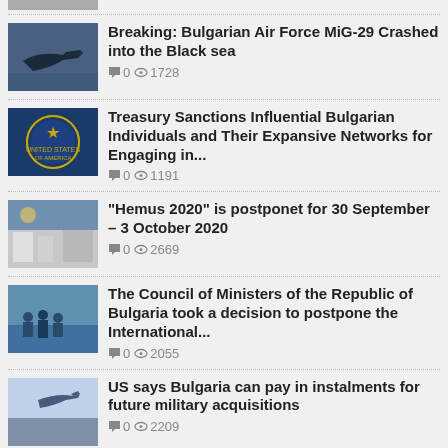Breaking: Bulgarian Air Force MiG-29 Crashed into the Black sea  0  1728
Treasury Sanctions Influential Bulgarian Individuals and Their Expansive Networks for Engaging in...  0  1191
"Hemus 2020" is postponet for 30 September – 3 October 2020  0  2669
The Council of Ministers of the Republic of Bulgaria took a decision to postpone the International...  0  2055
US says Bulgaria can pay in instalments for future military acquisitions  0  2209
Good News!: One of COVID-19 Infected in Bulgaria is Cured  0  1825